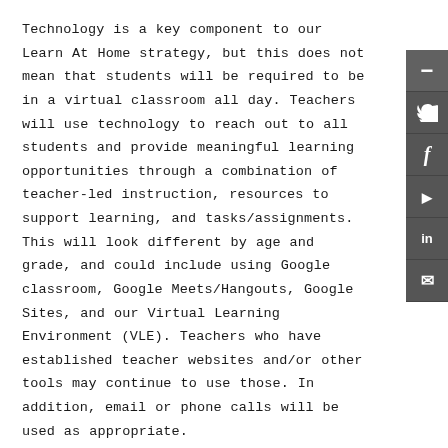Technology is a key component to our Learn At Home strategy, but this does not mean that students will be required to be in a virtual classroom all day. Teachers will use technology to reach out to all students and provide meaningful learning opportunities through a combination of teacher-led instruction, resources to support learning, and tasks/assignments. This will look different by age and grade, and could include using Google classroom, Google Meets/Hangouts, Google Sites, and our Virtual Learning Environment (VLE). Teachers who have established teacher websites and/or other tools may continue to use those. In addition, email or phone calls will be used as appropriate.
Supporting Access to Technology for Families
We have been working with families to ensure they find...